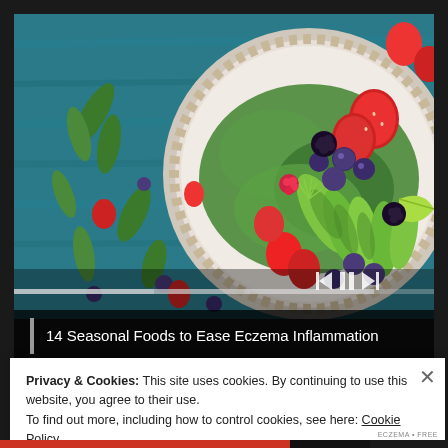[Figure (photo): Overhead photo of a decorative plate of food on a teal/blue wooden background. The plate contains avocado slices, fresh strawberries, raspberries, blueberries, blackberries, and green leafy herbs/salad. Scattered berries and herbs are also on the blue wooden table around the plate. Video player controls (rewind, pause, fast-forward icons) are overlaid at the bottom-right of the image. A horizontal progress/scrubber bar is shown at the bottom.]
14 Seasonal Foods to Ease Eczema Inflammation
Privacy & Cookies: This site uses cookies. By continuing to use this website, you agree to their use.
To find out more, including how to control cookies, see here: Cookie Policy
Close and accept